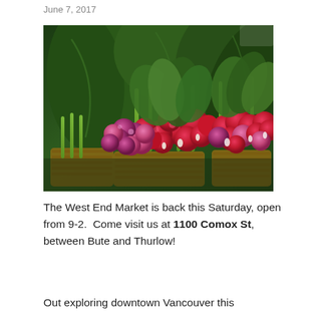June 7, 2017
[Figure (photo): Close-up photo of colorful bunches of radishes (red, pink, purple, white) with green leafy tops, displayed in market baskets, with large dark green leafy greens in the background.]
The West End Market is back this Saturday, open from 9-2.  Come visit us at 1100 Comox St, between Bute and Thurlow!
Out exploring downtown Vancouver this weekend?